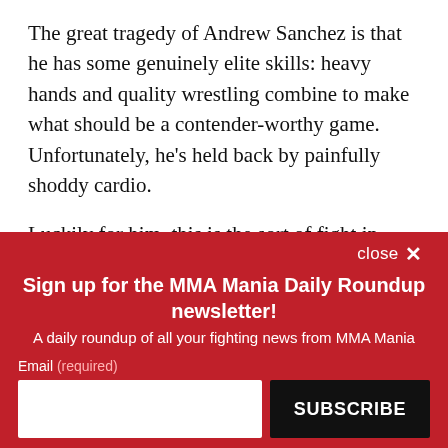The great tragedy of Andrew Sanchez is that he has some genuinely elite skills: heavy hands and quality wrestling combine to make what should be a contender-worthy game. Unfortunately, he’s held back by painfully shoddy cardio.
Luckily for him, this is the sort of fight in which he’ll excel. The three men who beat him in the Octagon,
close ×
Sign up for the MMA Mania Daily Roundup newsletter!
A daily roundup of all your fighting news from MMA Mania
Email (required)
SUBSCRIBE
By submitting your email, you agree to our Terms and Privacy Notice. You can opt out at any time. This site is protected by reCAPTCHA and the Google Privacy Policy and Terms of Service apply.